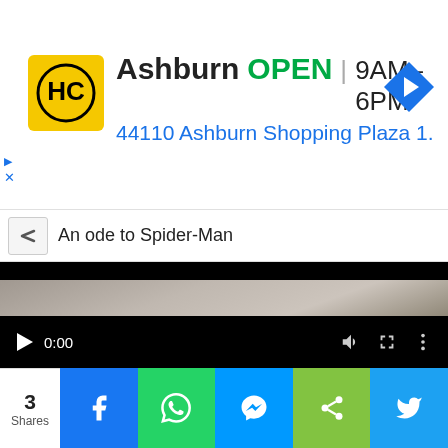[Figure (screenshot): Advertisement banner for Hairclub Ashburn location showing logo, OPEN status, hours 9AM-6PM, address 44110 Ashburn Shopping Plaza 1., and navigation icon]
An ode to Spider-Man
[Figure (screenshot): Video player showing a paused video at 0:00 with dark frame and playback controls including play button, time display, volume, fullscreen, and more options icons, with progress bar at bottom]
3 Shares
[Figure (infographic): Social share bar with Facebook, WhatsApp, Messenger, generic share, and Twitter buttons]